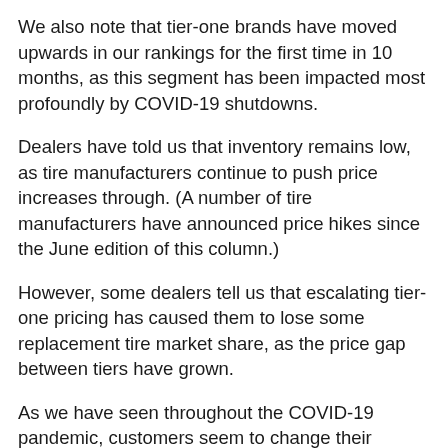We also note that tier-one brands have moved upwards in our rankings for the first time in 10 months, as this segment has been impacted most profoundly by COVID-19 shutdowns.
Dealers have told us that inventory remains low, as tire manufacturers continue to push price increases through. (A number of tire manufacturers have announced price hikes since the June edition of this column.)
However, some dealers tell us that escalating tier-one pricing has caused them to lose some replacement tire market share, as the price gap between tiers have grown.
As we have seen throughout the COVID-19 pandemic, customers seem to change their preferences for certain tiers and brands of tires depending on the current situation.
With high vaccination rates and broad re-openings throughout the country, we believe that more consumers will display a preference for tier-two brands.